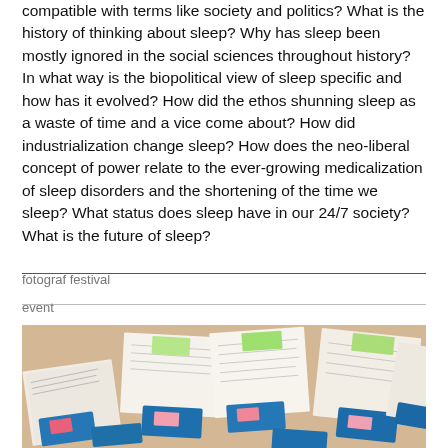compatible with terms like society and politics? What is the history of thinking about sleep? Why has sleep been mostly ignored in the social sciences throughout history? In what way is the biopolitical view of sleep specific and how has it evolved? How did the ethos shunning sleep as a waste of time and a vice come about? How did industrialization change sleep? How does the neo-liberal concept of power relate to the ever-growing medicalization of sleep disorders and the shortening of the time we sleep? What status does sleep have in our 24/7 society? What is the future of sleep?
fotograf festival
event
[Figure (photo): Overhead view of multiple sheets of paper with printed text and colorful sticky notes or cards scattered on a light wooden surface, some papers have blue and pink colored elements on them.]